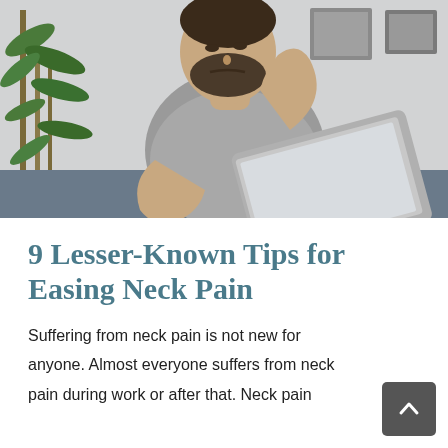[Figure (photo): A bearded man in a grey sleeveless shirt sitting with a laptop, grimacing and grabbing the back of his neck in pain. A green plant is visible in the background along with framed artwork on the wall.]
9 Lesser-Known Tips for Easing Neck Pain
Suffering from neck pain is not new for anyone. Almost everyone suffers from neck pain during work or after that. Neck pain